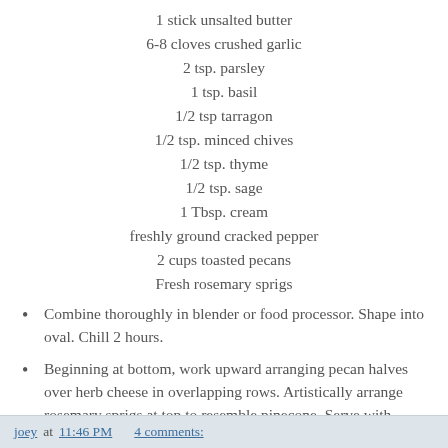1 stick unsalted butter
6-8 cloves crushed garlic
2 tsp. parsley
1 tsp. basil
1/2 tsp tarragon
1/2 tsp. minced chives
1/2 tsp. thyme
1/2 tsp. sage
1 Tbsp. cream
freshly ground cracked pepper
2 cups toasted pecans
Fresh rosemary sprigs
Combine thoroughly in blender or food processor. Shape into oval. Chill 2 hours.
Beginning at bottom, work upward arranging pecan halves over herb cheese in overlapping rows. Artistically arrange rosemary sprigs at top to resemble pinecone. Serve with favorite crisp crackers.
joey at 11:46 PM    4 comments: